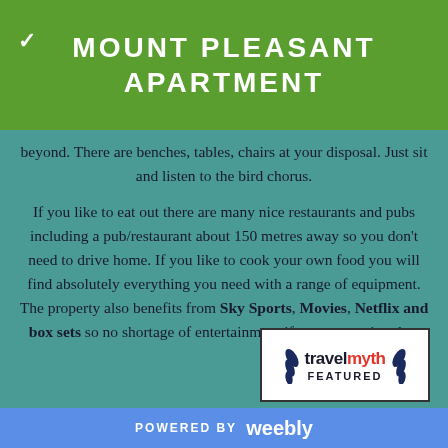MOUNT PLEASANT APARTMENT
beyond. There are benches, tables, chairs at your disposal. Just sit and listen to the bird chorus.
If you like to eat out there are many nice restaurants and pubs including a pub/restaurant about 150 metres away so you don't need to drive home. If you like to cook your own food you will find absolutely everything you need with a range of equipment. The property also benefits from Sky Sports, Movies, Netflix and box sets so no shortage of entertainment if you get a rainy day.
[Figure (logo): Travelmyth FEATURED badge with laurel leaves]
POWERED BY weebly